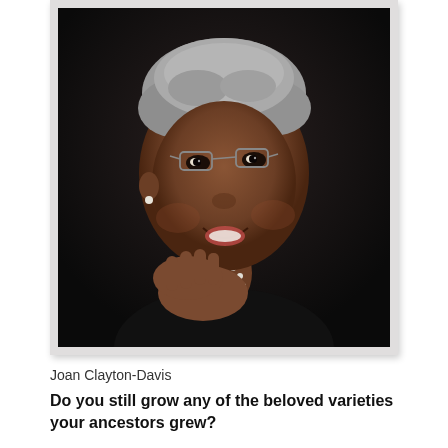[Figure (photo): Portrait photo of Joan Clayton-Davis, an older Black woman with short gray hair, wearing glasses and a dark top, smiling with her hand resting against her cheek. The photo has a light gray border/frame around it.]
Joan Clayton-Davis
Do you still grow any of the beloved varieties your ancestors grew?